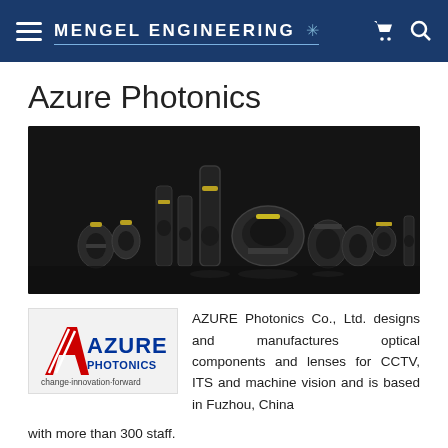Mengel Engineering
Azure Photonics
[Figure (photo): A collection of optical lenses and camera components arranged on a dark reflective surface, ranging from small to large sizes.]
[Figure (logo): Azure Photonics logo with red stylized letter A and blue AZURE text, PHOTONICS below, and tagline 'change·innovation·forward']
AZURE Photonics Co., Ltd. designs and manufactures optical components and lenses for CCTV, ITS and machine vision and is based in Fuzhou, China with more than 300 staff.
Azure Photonics machine vision lens offerings include